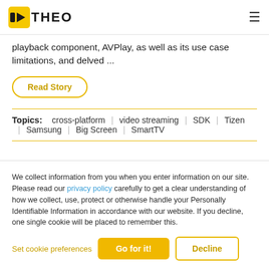THEO
playback component, AVPlay, as well as its use case limitations, and delved ...
Read Story
Topics:  cross-platform  |  video streaming  |  SDK  |  Tizen  |  Samsung  |  Big Screen  |  SmartTV
We collect information from you when you enter information on our site. Please read our privacy policy carefully to get a clear understanding of how we collect, use, protect or otherwise handle your Personally Identifiable Information in accordance with our website. If you decline, one single cookie will be placed to remember this.
Set cookie preferences  Go for it!  Decline